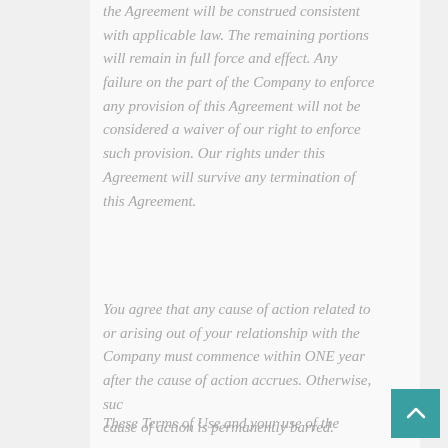the Agreement will be construed consistent with applicable law. The remaining portions will remain in full force and effect. Any failure on the part of the Company to enforce any provision of this Agreement will not be considered a waiver of our right to enforce such provision. Our rights under this Agreement will survive any termination of this Agreement.
You agree that any cause of action related to or arising out of your relationship with the Company must commence within ONE year after the cause of action accrues. Otherwise, such cause of action is permanently barred.
These Terms of Use and your use of the